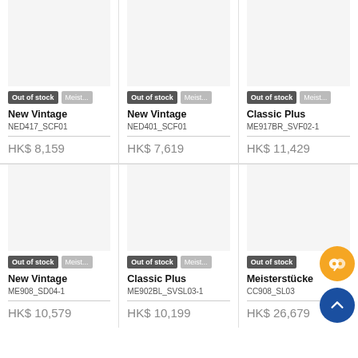[Figure (screenshot): Product listing grid showing watches/accessories, top row: 3 products out of stock]
Out of stock | Meist...
New Vintage
NED417_SCF01
HK$ 8,159
Out of stock | Meist...
New Vintage
NED401_SCF01
HK$ 7,619
Out of stock | Meist...
Classic Plus
ME917BR_SVF02-1
HK$ 11,429
Out of stock | Meist...
New Vintage
ME908_SD04-1
HK$ 10,579
Out of stock | Meist...
Classic Plus
ME902BL_SVSL03-1
HK$ 10,199
Out of stock
Meisterstücke
CC908_SL03
HK$ 26,679